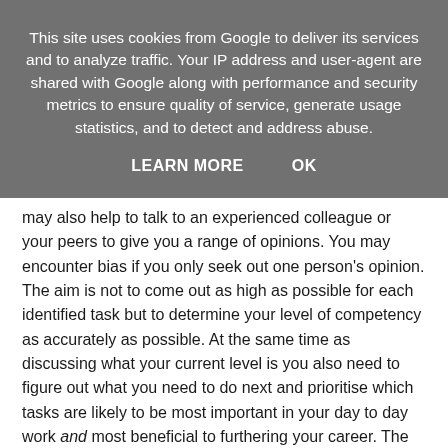This site uses cookies from Google to deliver its services and to analyze traffic. Your IP address and user-agent are shared with Google along with performance and security metrics to ensure quality of service, generate usage statistics, and to detect and address abuse.
LEARN MORE   OK
may also help to talk to an experienced colleague or your peers to give you a range of opinions. You may encounter bias if you only seek out one person's opinion. The aim is not to come out as high as possible for each identified task but to determine your level of competency as accurately as possible. At the same time as discussing what your current level is you also need to figure out what you need to do next and prioritise which tasks are likely to be most important in your day to day work and most beneficial to furthering your career. The next stage is to convert the information you have obtained into a realistic training plan for 2010.
If you discover that you already have a broad range of knowledge and skills, to which confident from the